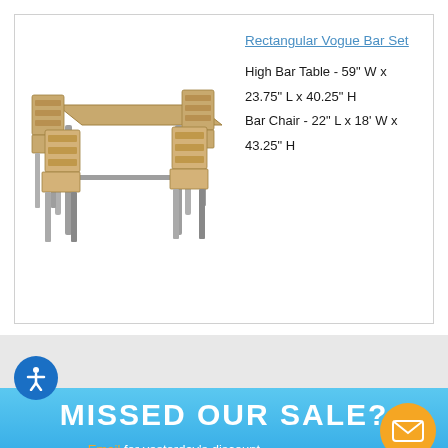[Figure (photo): Photo of a rectangular bar table set with metal legs and wood-tone top, with four bar chairs around it]
Rectangular Vogue Bar Set
High Bar Table - 59" W x 23.75" L x 40.25" H
Bar Chair - 22" L x 18' W x 43.25" H
[Figure (infographic): Blue banner with text: MISSED OUR SALE? Email for yesterday's discount TODAY ONLY!]